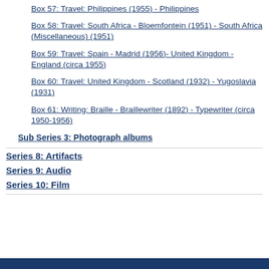Box 57: Travel: Philippines (1955) - Philippines
Box 58: Travel: South Africa - Bloemfontein (1951) - South Africa (Miscellaneous) (1951)
Box 59: Travel: Spain - Madrid (1956)- United Kingdom - England (circa 1955)
Box 60: Travel: United Kingdom - Scotland (1932) - Yugoslavia (1931)
Box 61: Writing: Braille - Braillewriter (1892) - Typewriter (circa 1950-1956)
Sub Series 3: Photograph albums
Series 8: Artifacts
Series 9: Audio
Series 10: Film